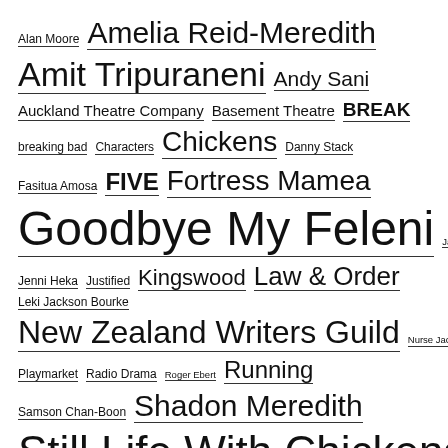Alan Moore
Amelia Reid-Meredith
Amit Tripuraneni
Andy Sani
Auckland Theatre Company
Basement Theatre
BREAK
breaking bad
Characters
Chickens
Danny Stack
Fasitua Amosa
FIVE
Fortress Mamea
Goodbye My Feleni
James Cameron
Jenni Heka
Justified
Kingswood
Law & Order
Leki Jackson Bourke
New Zealand Writers Guild
Nurse Jackie
Playmarket
Radio Drama
Roger Ebert
Running
Samson Chan-Boon
Shadon Meredith
Still Life With Chickens
The Boy
The Chickens
The Dog
The Editing Room